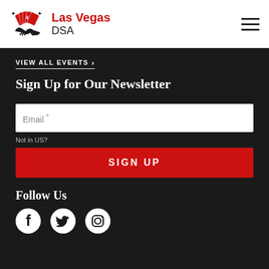[Figure (logo): Las Vegas DSA logo with playing cards and handshake icon in red and black]
Las Vegas DSA
VIEW ALL EVENTS →
Sign Up for Our Newsletter
Email *
Not in US?
SIGN UP
Follow Us
[Figure (illustration): Facebook, Twitter, and Instagram social media icons in white on dark background]